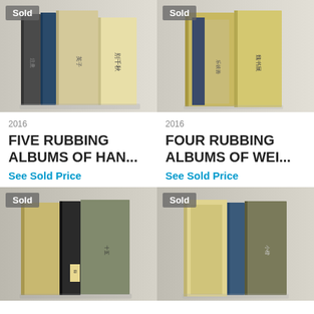[Figure (photo): Photo of five rubbing albums of Han dynasty, with 'Sold' badge overlay. Books stacked, tan/cream and dark blue covers, with Chinese characters.]
[Figure (photo): Photo of four rubbing albums of Wei dynasty, with 'Sold' badge overlay. Books stacked, tan/gold covers with Chinese characters.]
2016
2016
FIVE RUBBING ALBUMS OF HAN...
FOUR RUBBING ALBUMS OF WEI...
See Sold Price
See Sold Price
[Figure (photo): Photo of rubbing albums, 'Sold' badge. Books with dark and patterned covers, Chinese characters.]
[Figure (photo): Photo of rubbing albums, 'Sold' badge. Books with tan/cream and dark blue covers, Chinese characters.]